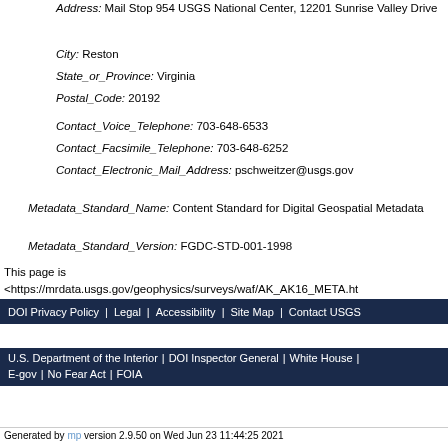Address: Mail Stop 954 USGS National Center, 12201 Sunrise Valley Drive
City: Reston
State_or_Province: Virginia
Postal_Code: 20192
Contact_Voice_Telephone: 703-648-6533
Contact_Facsimile_Telephone: 703-648-6252
Contact_Electronic_Mail_Address: pschweitzer@usgs.gov
Metadata_Standard_Name: Content Standard for Digital Geospatial Metadata
Metadata_Standard_Version: FGDC-STD-001-1998
This page is <https://mrdata.usgs.gov/geophysics/surveys/waf/AK_AK16_META.ht
DOI Privacy Policy | Legal | Accessibility | Site Map | Contact USGS
U.S. Department of the Interior | DOI Inspector General | White House | E-gov | No Fear Act | FOIA
Generated by mp version 2.9.50 on Wed Jun 23 11:44:25 2021